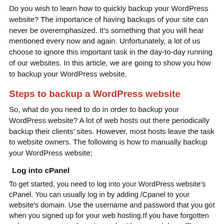Do you wish to learn how to quickly backup your WordPress website? The importance of having backups of your site can never be overemphasized. It's something that you will hear mentioned every now and again. Unfortunately, a lot of us choose to ignore this important task in the day-to-day running of our websites. In this article, we are going to show you how to backup your WordPress website.
Steps to backup a WordPress website
So, what do you need to do in order to backup your WordPress website? A lot of web hosts out there periodically backup their clients' sites. However, most hosts leave the task to website owners. The following is how to manually backup your WordPress website;
Log into cPanel
To get started, you need to log into your WordPress website's cPanel. You can usually log in by adding /Cpanel to your website's domain. Use the username and password that you got when you signed up for your web hosting.If you have forgotten or lost your password, get in touch with your web host. They should be able to help you out. It's also possible to log into your cPanel from your website's hosting panel. If you are unsure how to proceed, contact your web host.
Look for the backup application
Once you have logged into your website's cPanel, the next thing